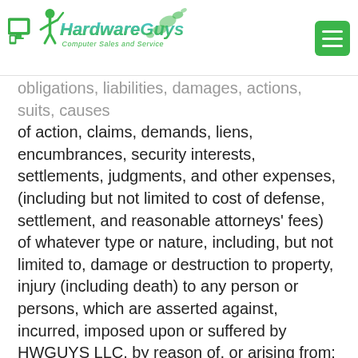HardwareGuys Computer Sales and Service
obligations, liabilities, damages, actions, suits, causes of action, claims, demands, liens, encumbrances, security interests, settlements, judgments, and other expenses, (including but not limited to cost of defense, settlement, and reasonable attorneys' fees) of whatever type or nature, including, but not limited to, damage or destruction to property, injury (including death) to any person or persons, which are asserted against, incurred, imposed upon or suffered by HWGUYS LLC. by reason of, or arising from: (a) Customer's breach of this Agreement; (b) Customer's actual or alleged infringement of any patent, copyright, trademark, trade secret or other property or contract right of any other person; (c) Customer's actual or alleged failure to promptly